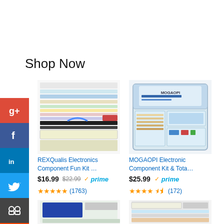Shop Now
[Figure (photo): REXQualis Electronics Component Fun Kit product image]
REXQualis Electronics Component Fun Kit …
$16.99  $22.99  ✓prime
★★★★★ (1763)
[Figure (photo): MOGAOPI Electronic Component Kit & Total… product image in clear case]
MOGAOPI Electronic Component Kit & Tota…
$25.99  ✓prime
★★★★☆ (172)
[Figure (photo): Third electronics kit product image (partially visible)]
[Figure (photo): Fourth electronics kit product image (partially visible)]